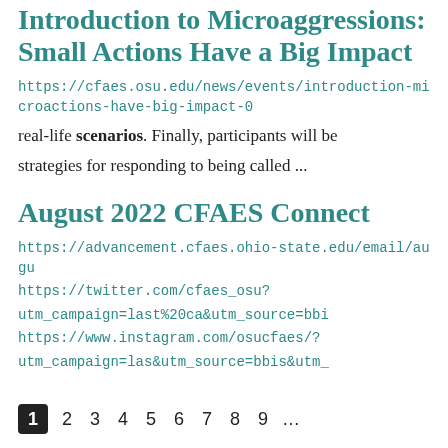Introduction to Microaggressions: Small Actions Have a Big Impact
https://cfaes.osu.edu/news/events/introduction-microactions-have-big-impact-0
real-life scenarios. Finally, participants will be strategies for responding to being called ...
August 2022 CFAES Connect
https://advancement.cfaes.ohio-state.edu/email/augu https://twitter.com/cfaes_osu?utm_campaign=last%20ca&utm_source=bbi https://www.instagram.com/osucfaes/?utm_campaign=las&utm_source=bbis&utm_
1 2 3 4 5 6 7 8 9 ...